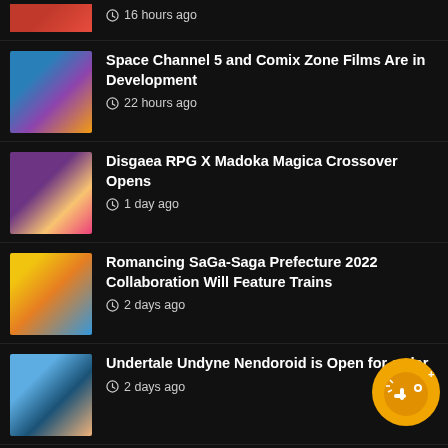16 hours ago
Space Channel 5 and Comix Zone Films Are in Development — 22 hours ago
Disgaea RPG X Madoka Magica Crossover Opens — 1 day ago
Romancing SaGa-Saga Prefecture 2022 Collaboration Will Feature Trains — 2 days ago
Undertale Undyne Nendoroid is Open for order — 2 days ago
Puzzle & Dragons Will Run One Piece Film Red Event